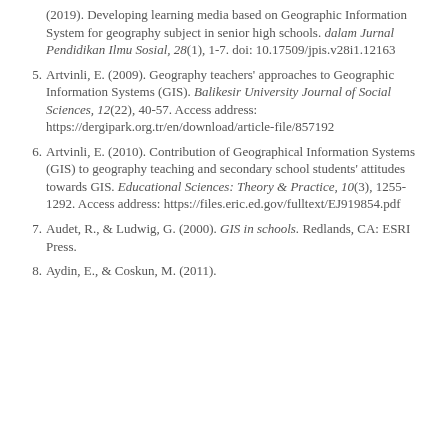(2019). Developing learning media based on Geographic Information System for geography subject in senior high schools. dalam Jurnal Pendidikan Ilmu Sosial, 28(1), 1-7. doi: 10.17509/jpis.v28i1.12163
5. Artvinli, E. (2009). Geography teachers' approaches to Geographic Information Systems (GIS). Balikesir University Journal of Social Sciences, 12(22), 40-57. Access address: https://dergipark.org.tr/en/download/article-file/857192
6. Artvinli, E. (2010). Contribution of Geographical Information Systems (GIS) to geography teaching and secondary school students' attitudes towards GIS. Educational Sciences: Theory & Practice, 10(3), 1255-1292. Access address: https://files.eric.ed.gov/fulltext/EJ919854.pdf
7. Audet, R., & Ludwig, G. (2000). GIS in schools. Redlands, CA: ESRI Press.
8. Aydin, E., & Coskun, M. (2011).